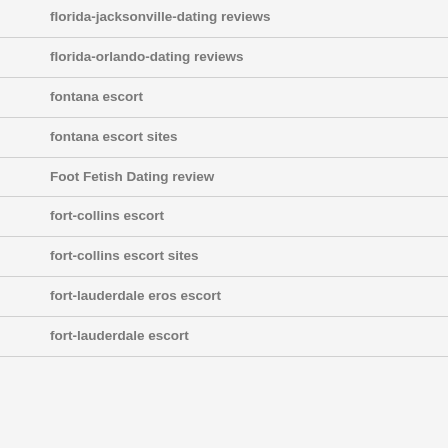florida-jacksonville-dating reviews
florida-orlando-dating reviews
fontana escort
fontana escort sites
Foot Fetish Dating review
fort-collins escort
fort-collins escort sites
fort-lauderdale eros escort
fort-lauderdale escort